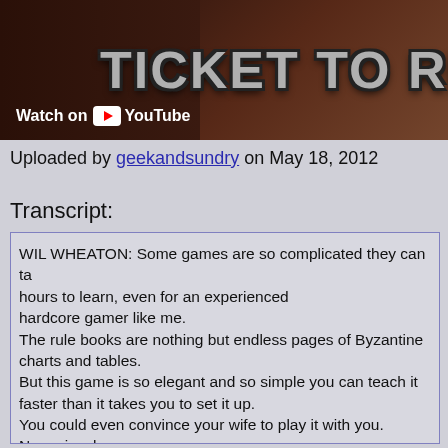[Figure (screenshot): YouTube video thumbnail showing 'TICKET TO RIDE' text overlay on a dark reddish-brown background with a person visible, and a 'Watch on YouTube' button in the lower left.]
Uploaded by geekandsundry on May 18, 2012
Transcript:
WIL WHEATON: Some games are so complicated they can take hours to learn, even for an experienced hardcore gamer like me. The rule books are nothing but endless pages of Byzantine charts and tables. But this game is so elegant and so simple you can teach it faster than it takes you to set it up. You could even convince your wife to play it with you. No seriously. My wife is here today to play this game.